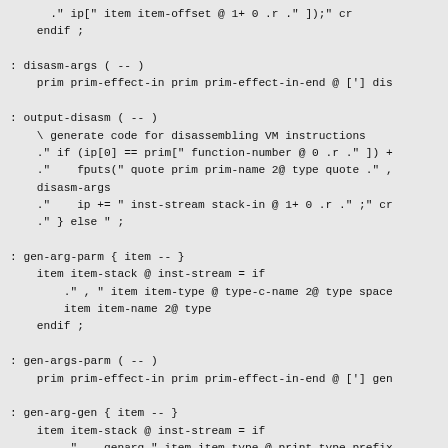." ip[" item item-offset @ 1+ 0 .r ." ]);" cr
    endif ;

: disasm-args ( -- )
    prim prim-effect-in prim prim-effect-in-end @ ['] dis

: output-disasm ( -- )
    \ generate code for disassembling VM instructions
    ." if (ip[0] == prim[" function-number @ 0 .r ." ]) +
    ."    fputs(" quote prim prim-name 2@ type quote ." ,
    disasm-args
    ."    ip += " inst-stream stack-in @ 1+ 0 .r ." ;" cr
    ." } else " ;

: gen-arg-parm { item -- }
    item item-stack @ inst-stream = if
        ." , " item item-type @ type-c-name 2@ type space
        item item-name 2@ type
    endif ;

: gen-args-parm ( -- )
    prim prim-effect-in prim prim-effect-in-end @ ['] gen

: gen-arg-gen { item -- }
    item item-stack @ inst-stream = if
        ."    genarg_" item item-type @ print-type-prefix
        ." (ctp, " item item-name 2@ type ." );" cr
    endif ;

: gen-args-gen ( -- )